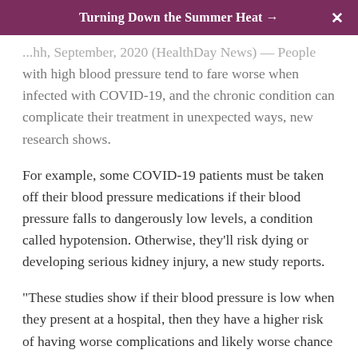Turning Down the Summer Heat →  ✕
...hh, September, 2020 (HealthDay News) — People with high blood pressure tend to fare worse when infected with COVID-19, and the chronic condition can complicate their treatment in unexpected ways, new research shows.
For example, some COVID-19 patients must be taken off their blood pressure medications if their blood pressure falls to dangerously low levels, a condition called hypotension. Otherwise, they'll risk dying or developing serious kidney injury, a new study reports.
"These studies show if their blood pressure is low when they present at a hospital, then they have a higher risk of having worse complications and likely worse chance of survival," said Dr. Benjamin Hirsh, director of preventive cardiology at Northwell Health's